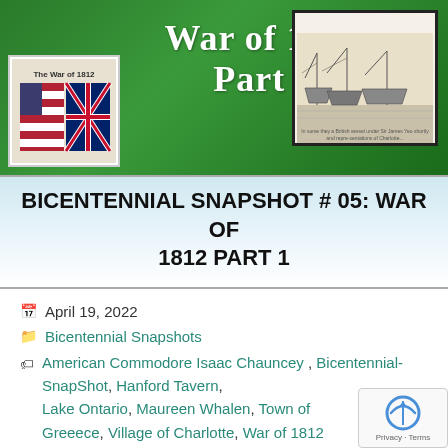[Figure (illustration): War of 1812 Part 1 banner with green gradient background, two embedded images: left shows The War of 1812 book/flag illustration, right shows a historical naval scene engraving]
BICENTENNIAL SNAPSHOT # 05: WAR OF 1812 PART 1
April 19, 2022
Bicentennial Snapshots
American Commodore Isaac Chauncey , Bicentennial-SnapShot, Hanford Tavern, Lake Ontario, Maureen Whalen, Town of Greeece, Village of Charlotte, War of 1812
(0)
This week we begin a three-part presontation on the attacks along the